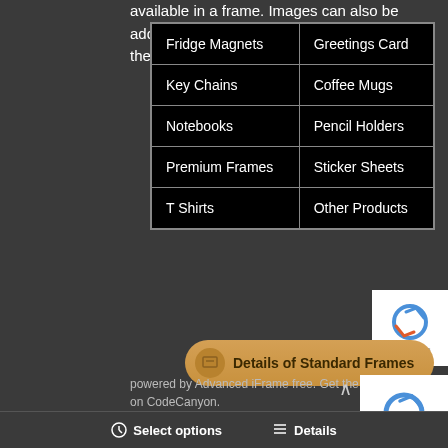available in a frame. Images can also be added to accessories. To order please follow these links
| Fridge Magnets | Greetings Card |
| Key Chains | Coffee Mugs |
| Notebooks | Pencil Holders |
| Premium Frames | Sticker Sheets |
| T Shirts | Other Products |
[Figure (screenshot): reCAPTCHA widget box (partial, top right)]
Details of Standard Frames
powered by Advanced iFrame free. Get the Pro version on CodeCanyon.
[Figure (screenshot): reCAPTCHA widget box (partial, bottom right)]
Select options     Details